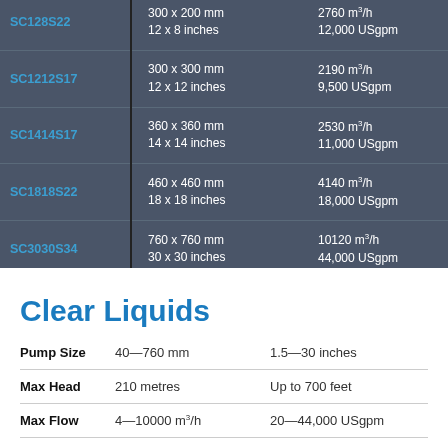| Model | Dimensions | Flow Rate | Head (m) |
| --- | --- | --- | --- |
| SC128S22 | 300 x 200 mm / 12 x 8 inches | 2760 m³/h / 12,000 USgpm | 220 / 720 |
| SC1212S17 | 300 x 300 mm / 12 x 12 inches | 2190 m³/h / 9,500 USgpm | 100 / 325 |
| SC1414S17 | 360 x 360 mm / 14 x 14 inches | 2530 m³/h / 11,000 USgpm | 40 / 140 |
| SC1818S22 | 460 x 460 mm / 18 x 18 inches | 4140 m³/h / 18,000 USgpm | 60 / 210 |
| SC3030S34 | 760 x 760 mm / 30 x 30 inches | 10120 m³/h / 44,000 USgpm | 40 / 126 |
Clear Liquids
| Spec | Metric | Imperial |
| --- | --- | --- |
| Pump Size | 40—760 mm | 1.5—30 inches |
| Max Head | 210 metres | Up to 700 feet |
| Max Flow | 4—10000 m³/h | 20—44,000 USgpm |